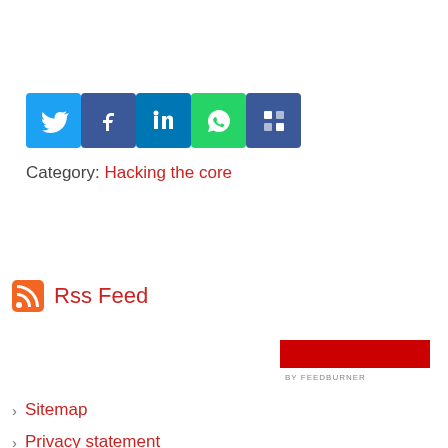[Figure (other): Social sharing icons row: Twitter (blue bird), Facebook (blue f), LinkedIn (blue in), WhatsApp (green phone), ShareThis (blue squares)]
Category: Hacking the core
Rss Feed
[Figure (logo): FeedBurner red badge logo with text 'BY FEEDBURNER']
Sitemap
Privacy statement